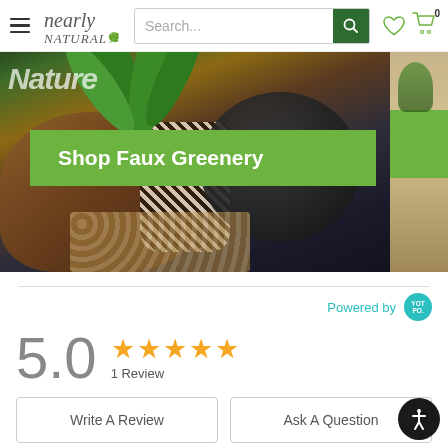[Figure (screenshot): Nearly Natural website header with hamburger menu, logo, search bar, heart icon, and cart icon]
[Figure (photo): Banner image showing faux greenery plants with decorative wooden bowl and patterned vase, with a green Shop Faux Greenery CTA button overlay. A smaller side banner on the right shows an outdoor scene.]
Powered by YOTPO
5.0 ★★★★★ 1 Review
Write A Review
Ask A Question